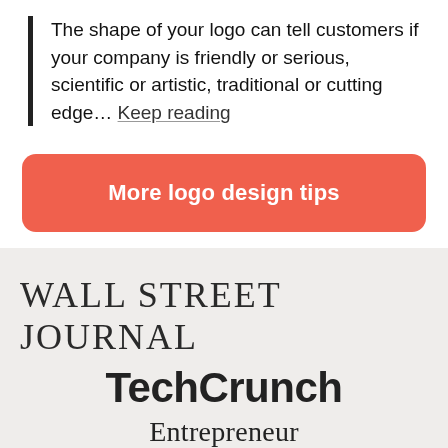The shape of your logo can tell customers if your company is friendly or serious, scientific or artistic, traditional or cutting edge… Keep reading
[Figure (other): A red/coral rounded rectangle button with white bold text reading 'More logo design tips']
[Figure (other): A light gray section showing publication logos: WALL STREET JOURNAL (serif uppercase), TechCrunch (bold sans-serif), Entrepreneur (serif), The New York Times (blackletter/Old English)]